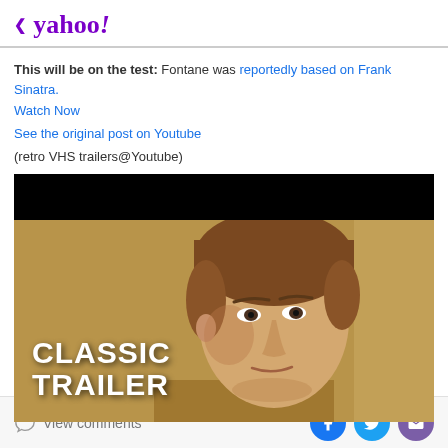< yahoo!
This will be on the test: Fontane was reportedly based on Frank Sinatra.
Watch Now
See the original post on Youtube
(retro VHS trailers@Youtube)
[Figure (screenshot): Video thumbnail showing a young man with brown hair looking serious, with 'CLASSIC TRAILER' text overlay in bold white, and a black bar at top.]
View comments